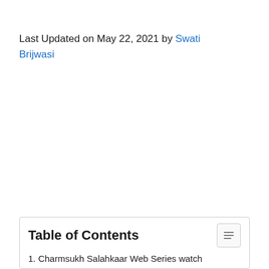Last Updated on May 22, 2021 by Swati Brijwasi
Table of Contents
1. Charmsukh Salahkaar Web Series watch